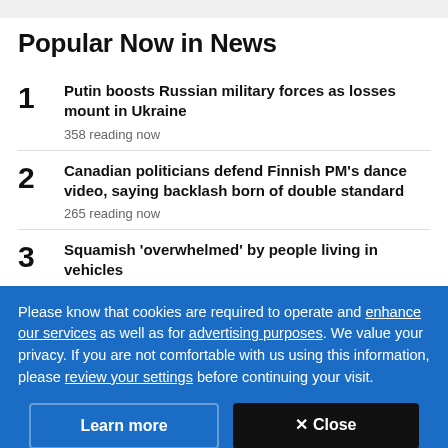Popular Now in News
1 Putin boosts Russian military forces as losses mount in Ukraine
358 reading now
2 Canadian politicians defend Finnish PM's dance video, saying backlash born of double standard
265 reading now
3 Squamish 'overwhelmed' by people living in vehicles
Please know that cookies are required to operate and enhance our services as well as for advertising purposes. We value your privacy. If you are not comfortable with us using this information, please review your settings before continuing your visit.
Learn more | ✕ Close